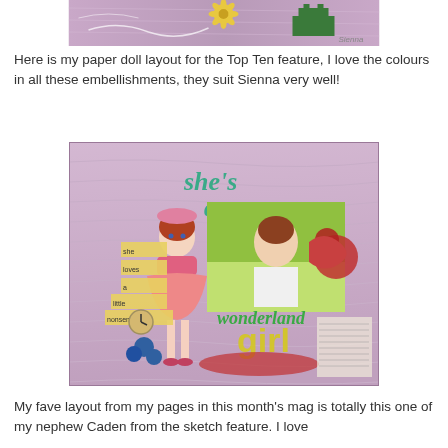[Figure (photo): Top cropped image of a decorative scrapbook strip with purple background, yellow flower embellishment, green castle shape, and white hand-drawn doodles on a pink/purple patterned background.]
Here is my paper doll layout for the Top Ten feature, I love the colours in all these embellishments, they suit Sienna very well!
[Figure (photo): A scrapbook layout page featuring a paper doll figure in a pink dress on a purple wood-grain background. Includes a photo of a young girl laughing outdoors, decorative text reading 'she's a wonderland girl', floral embellishments in red, blue roses, buttons, and various journaling tags reading 'she loves a little nonsense'.]
My fave layout from my pages in this month's mag is totally this one of my nephew Caden from the sketch feature. I love